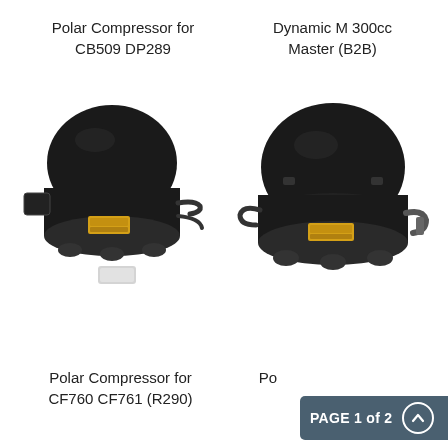Polar Compressor for CB509 DP289
Dynamic M 300cc Master (B2B)
[Figure (photo): Black refrigeration compressor unit (Polar Compressor for CB509 DP289) with yellow warning label and small accessory bag]
[Figure (photo): Black refrigeration compressor unit (Dynamic M 300cc Master B2B) with yellow warning label and copper tubing]
Polar Compressor for CF760 CF761 (R290)
Polar Compressor for ... (R290)
PAGE 1 of 2